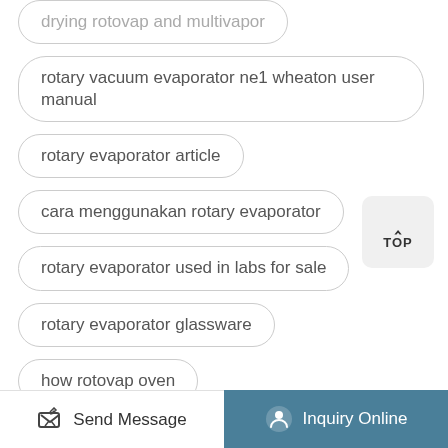drying rotovap and multivapor
rotary vacuum evaporator ne1 wheaton user manual
rotary evaporator article
cara menggunakan rotary evaporator
rotary evaporator used in labs for sale
rotary evaporator glassware
how rotovap oven
rotary evaporator implosion
simple rotary evaporator drawing
Send Message   Inquiry Online